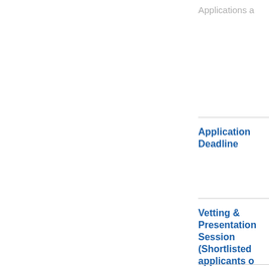Applications a
Application Deadline
Vetting & Presentation Session (Shortlisted applicants o